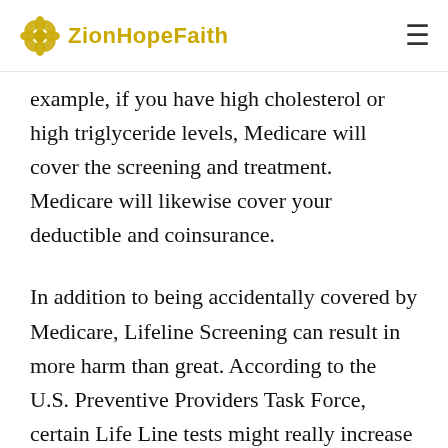ZionHopeFaith
example, if you have high cholesterol or high triglyceride levels, Medicare will cover the screening and treatment. Medicare will likewise cover your deductible and coinsurance.
In addition to being accidentally covered by Medicare, Lifeline Screening can result in more harm than great. According to the U.S. Preventive Providers Task Force, certain Life Line tests might really increase your danger of injury and stroke. For instance, carotid